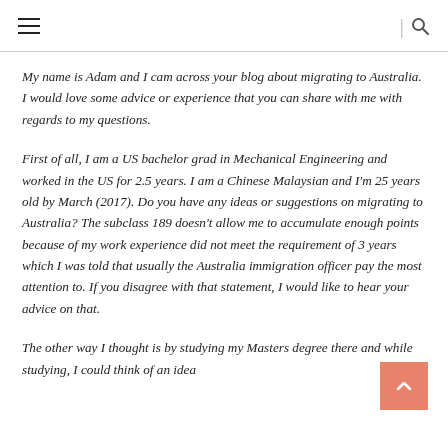≡  |  🔍
My name is Adam and I cam across your blog about migrating to Australia. I would love some advice or experience that you can share with me with regards to my questions.
First of all, I am a US bachelor grad in Mechanical Engineering and worked in the US for 2.5 years. I am a Chinese Malaysian and I'm 25 years old by March (2017). Do you have any ideas or suggestions on migrating to Australia? The subclass 189 doesn't allow me to accumulate enough points because of my work experience did not meet the requirement of 3 years which I was told that usually the Australia immigration officer pay the most attention to. If you disagree with that statement, I would like to hear your advice on that.
The other way I thought is by studying my Masters degree there and while studying, I could think of an idea